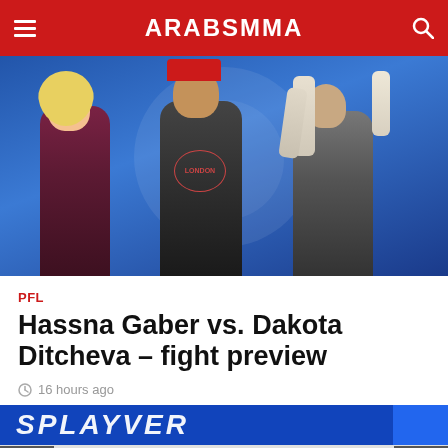ARABSMMA
[Figure (photo): Two female MMA fighters facing off with a male referee/official standing between them. Left fighter has blonde hair wearing a maroon sports top. Right fighter has white braided hair. Background is blue with event signage.]
PFL
Hassna Gaber vs. Dakota Ditcheva – fight preview
16 hours ago
[Figure (other): Partial advertisement banner at bottom of article (blue background with text partially visible)]
Social sharing buttons: Facebook, Twitter, Google+, Pinterest, WhatsApp. Navigation arrows left and right.